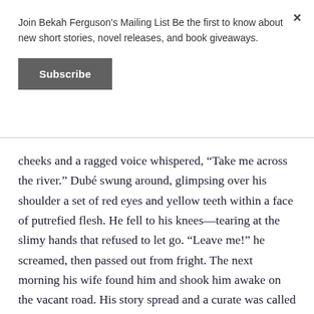Join Bekah Ferguson's Mailing List Be the first to know about new short stories, novel releases, and book giveaways.
Subscribe
cheeks and a ragged voice whispered, “Take me across the river.” Dubé swung around, glimpsing over his shoulder a set of red eyes and yellow teeth within a face of putrefied flesh. He fell to his knees—tearing at the slimy hands that refused to let go. “Leave me!” he screamed, then passed out from fright. The next morning his wife found him and shook him awake on the vacant road. His story spread and a curate was called in to exorcise the spirit.